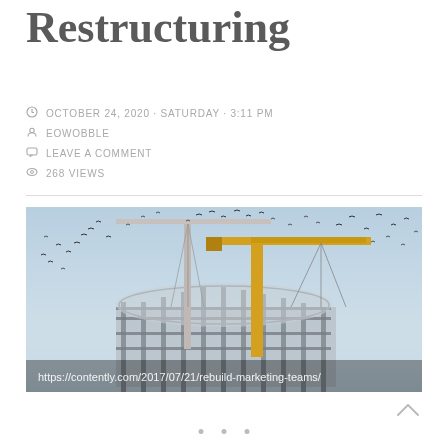Restructuring
OCTOBER 24, 2020 · SATURDAY · 3:11 PM
EOWOBBLE
LEAVE A COMMENT
268 VIEWS
[Figure (photo): Construction site with two large yellow cranes over a building framework with scaffolding, birds flying in a blue-grey sky. URL watermark: https://contently.com/2017/07/21/rebuild-marketing-teams/]